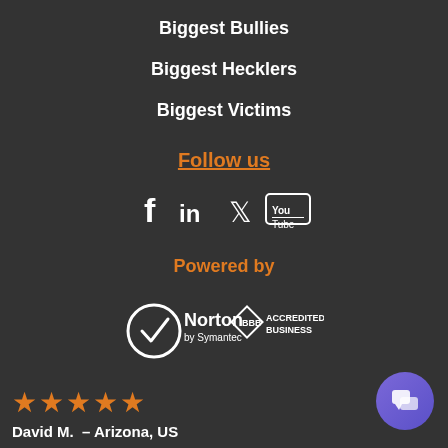Biggest Bullies
Biggest Hecklers
Biggest Victims
Follow us
[Figure (infographic): Social media icons: Facebook, LinkedIn, Twitter, YouTube]
Powered by
[Figure (logo): Norton by Symantec logo and BBB Accredited Business logo]
[Figure (infographic): Five orange stars rating]
David M.  – Arizona, US
[Figure (infographic): Purple chat bubble button]